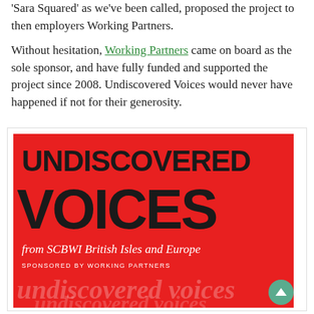'Sara Squared' as we've been called, proposed the project to then employers Working Partners.
Without hesitation, Working Partners came on board as the sole sponsor, and have fully funded and supported the project since 2008. Undiscovered Voices would never have happened if not for their generosity.
[Figure (illustration): Book cover for 'Undiscovered Voices from SCBWI British Isles and Europe', sponsored by Working Partners. Red background with large black text 'UNDISCOVERED VOICES', white italic subtitle 'from SCBWI British Isles and Europe', white small caps 'SPONSORED BY WORKING PARTNERS', and watermark text of 'undiscovered voices' repeated.]